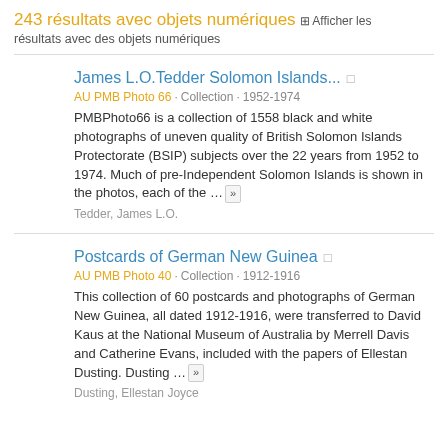243 résultats avec objets numériques  ⊞ Afficher les résultats avec des objets numériques
James L.O.Tedder Solomon Islands...  AU PMB Photo 66 · Collection · 1952-1974
PMBPhoto66 is a collection of 1558 black and white photographs of uneven quality of British Solomon Islands Protectorate (BSIP) subjects over the 22 years from 1952 to 1974. Much of pre-Independent Solomon Islands is shown in the photos, each of the ... »
Tedder, James L.O.
Postcards of German New Guinea  AU PMB Photo 40 · Collection · 1912-1916
This collection of 60 postcards and photographs of German New Guinea, all dated 1912-1916, were transferred to David Kaus at the National Museum of Australia by Merrell Davis and Catherine Evans, included with the papers of Ellestan Dusting. Dusting ... »
Dusting, Ellestan Joyce